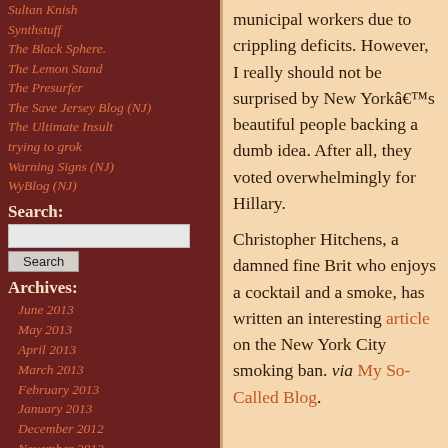Sultan Knish
Synthstuff
The Black Sphere.
The Lemon Stand
The Presurfer
The Save Jersey Blog (NJ)
The Ultimate Insult
trying to grok
Warning Signs (NJ)
WyBlog (NJ)
Search:
Archives:
June 2013
May 2013
April 2013
March 2013
February 2013
January 2013
December 2012
November 2012
October 2012
September 2012
August 2012
July 2012
municipal workers due to crippling deficits. However, I really should not be surprised by New Yorkâ€™s beautiful people backing a dumb idea. After all, they voted overwhelmingly for Hillary.
Christopher Hitchens, a damned fine Brit who enjoys a cocktail and a smoke, has written an interesting article on the New York City smoking ban. via My So-Called Blog.